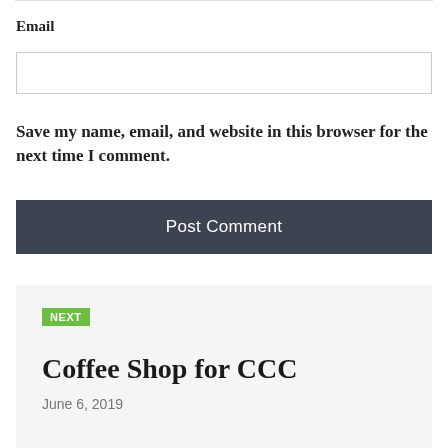Email
[Figure (other): Email input text field, empty, with light border]
Save my name, email, and website in this browser for the next time I comment.
Post Comment
NEXT
Coffee Shop for CCC
June 6, 2019